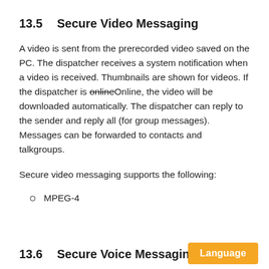13.5 Secure Video Messaging
A video is sent from the prerecorded video saved on the PC. The dispatcher receives a system notification when a video is received. Thumbnails are shown for videos. If the dispatcher is onlineOnline, the video will be downloaded automatically. The dispatcher can reply to the sender and reply all (for group messages). Messages can be forwarded to contacts and talkgroups.
Secure video messaging supports the following:
MPEG-4
13.6 Secure Voice Messaging